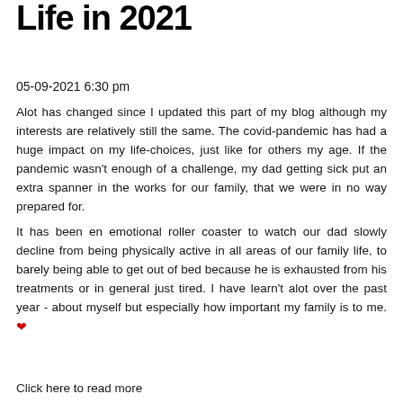Life in 2021
05-09-2021 6:30 pm
Alot has changed since I updated this part of my blog although my interests are relatively still the same. The covid-pandemic has had a huge impact on my life-choices, just like for others my age. If the pandemic wasn't enough of a challenge, my dad getting sick put an extra spanner in the works for our family, that we were in no way prepared for.
It has been en emotional roller coaster to watch our dad slowly decline from being physically active in all areas of our family life, to barely being able to get out of bed because he is exhausted from his treatments or in general just tired. I have learn't alot over the past year - about myself but especially how important my family is to me. ❤
Click here to read more